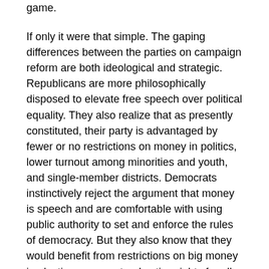game.
If only it were that simple. The gaping differences between the parties on campaign reform are both ideological and strategic. Republicans are more philosophically disposed to elevate free speech over political equality. They also realize that as presently constituted, their party is advantaged by fewer or no restrictions on money in politics, lower turnout among minorities and youth, and single-member districts. Democrats instinctively reject the argument that money is speech and are comfortable with using public authority to set and enforce the rules of democracy. But they also know that they would benefit from restrictions on big money in elections, guaranteed voting rights for all citizens, and a more proportional translation of votes into seats.
The Clinton campaign finance proposals generally follow the thrust of liberal reformers: building a counterforce to big money through multiple matching funds for small donors, increasing transparency by requiring timely disclosure of mega-contributions and transfers that now evade public